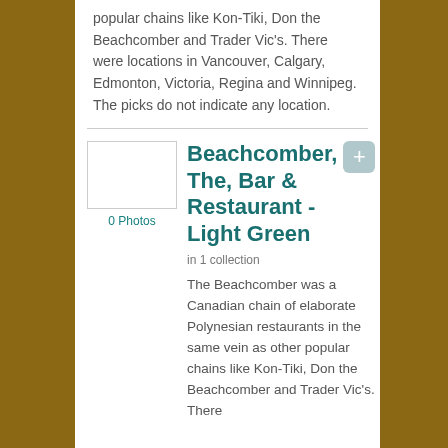popular chains like Kon-Tiki, Don the Beachcomber and Trader Vic's. There were locations in Vancouver, Calgary, Edmonton, Victoria, Regina and Winnipeg. The picks do not indicate any location.
[Figure (photo): Thumbnail photo placeholder box with 0 Photos label below]
Beachcomber, The, Bar & Restaurant - Light Green
in 1 collection
The Beachcomber was a Canadian chain of elaborate Polynesian restaurants in the same vein as other popular chains like Kon-Tiki, Don the Beachcomber and Trader Vic's. There